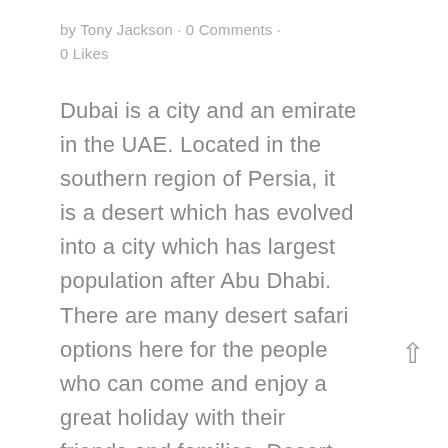by Tony Jackson · 0 Comments · 0 Likes
Dubai is a city and an emirate in the UAE. Located in the southern region of Persia, it is a desert which has evolved into a city which has largest population after Abu Dhabi. There are many desert safari options here for the people who can come and enjoy a great holiday with their friends and families. Desert safari is known as one most popular site in Dubai which attracts people all over the world. It is an interesting blend of the modern habits and culture and the ancient traditions. You can enjoy a walk in the desert munching on some of the